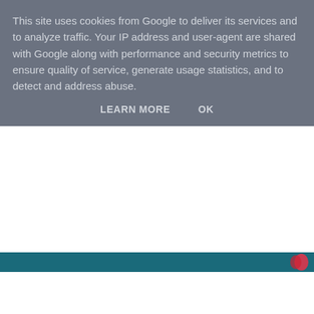This site uses cookies from Google to deliver its services and to analyze traffic. Your IP address and user-agent are shared with Google along with performance and security metrics to ensure quality of service, generate usage statistics, and to detect and address abuse.
LEARN MORE   OK
Home
Wednesday, 27 March 2013
Jovetic's performance promising - Nacho's MOTM display -Wilshere's England burden -Podolski's pledge
Morning Gooners!
At last it's time for the real football to return. Two more days at work this week and another four until we get to see The Arsenal back in action. And there are now no longer any